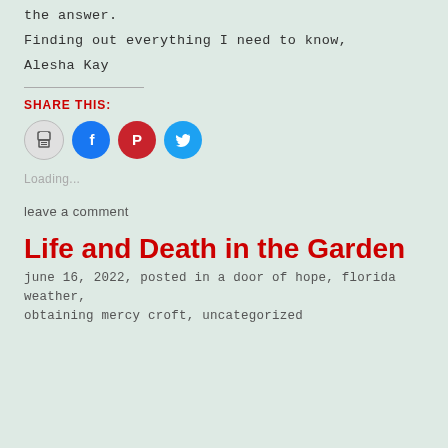the answer.
Finding out everything I need to know,
Alesha Kay
SHARE THIS:
[Figure (other): Social sharing icons: print, Facebook, Pinterest, Twitter]
Loading...
leave a comment
Life and Death in the Garden
june 16, 2022, posted in a door of hope, florida weather, obtaining mercy croft, uncategorized